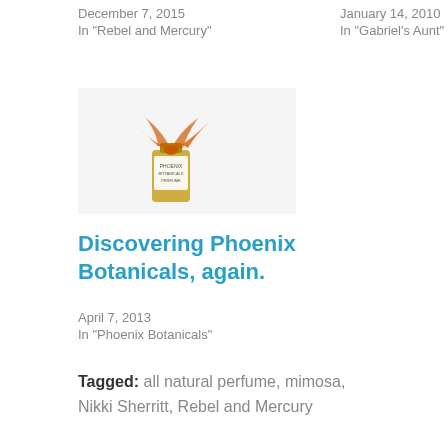December 7, 2015
In "Rebel and Mercury"
January 14, 2010
In "Gabriel's Aunt"
[Figure (photo): A small bottle of perfume with an orange ribbon tied around it, on white background]
Discovering Phoenix Botanicals, again.
April 7, 2013
In "Phoenix Botanicals"
Tagged:  all natural perfume,  mimosa,  Nikki Sherritt,  Rebel and Mercury